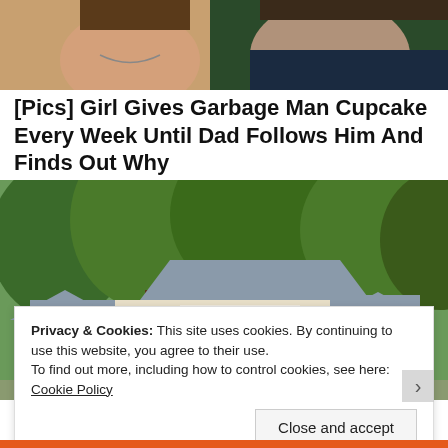[Figure (photo): Partial photo of two people, cropped at top of page showing their faces/upper bodies]
[Pics] Girl Gives Garbage Man Cupcake Every Week Until Dad Follows Him And Finds Out Why
HealthyGem
[Figure (photo): Exterior photo of a large house surrounded by tall trees with green foliage]
Privacy & Cookies: This site uses cookies. By continuing to use this website, you agree to their use.
To find out more, including how to control cookies, see here: Cookie Policy
Close and accept